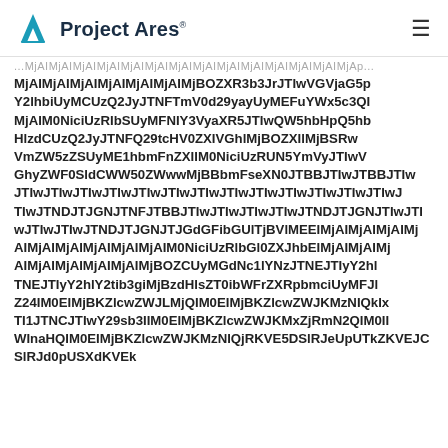Project Ares
MjAIMjAIMjAIMjAIMjAIMjAIMjBOZXR3b3JrJTIwVGVjaG5p Y2lhbiUyMCUzQ2JyJTNFTmV0d29yayUyMEFuYWx5c3QI MjAIM0NiciUzRIbSUyMFNIY3VyaXR5JTIwQW5hbHzdCUzQ2JyJTNFQ29tcHV0ZXIVGVjaG5bG9neSBIbG9neSBIbld50ZWwwlMjBBbmFseXN0JTBBQ29tcHV0ZXIgSmVuZXJhbCBIbGdRVN5c3RlbXMVmZW5zZVN0aWFsRkJBIHN1cmVXN50ZWwwI MjAIM0NiciUzRlbSUyMFNIY3VyaXR5SUkwVGVjaFwV GhyZWF0SldCWW50ZWwMjBBbmFseXN0JTBBJTIwJTBBJTIw JTIwJTIwJTIwJTIwJTIwJTIwJTIwJTIwJTIwJTIwJTIwJTIwJTIwJ TIwJTNDJTJGNJTNFJTBBJTIwJTIwJTIwJTIwJTIwJTIwJTIwJTI wJTIwJTIwJTIwJTIwJTNDJTJGNJTIwJTIwJTIwJTIwJTNDJTJGNJTJGdGFibGUlTjBVlMEEIMjAIMjAIMjAIMjAIMjAIMjAIMjAIMjAIMjAIM0NiciUzRlbGl0ZXJhbEIMjAIMjAIMjAIMjAIMjAIMjAIMjAIMjBOZCUyMGdNc1lYNzJ TNEJTIyY2hlY2tib3giMjBzdHlsZT0ibWFrZXRpbmciPQBzdHlsZT0ibWFrZXRpbmciUyMFJleHBvcnQiIFJCR0N3NzZlNWxNVXFNR0kxSmdMZlcwZWJLMjQIM0EIMjBKZlcwZWJKMTJJVEkxSlROQ0pUSXdZMjlzYjNJSU0wRUlNakFJTWpBeHp Kcm1OMlFJTTBJSU1qQm9a WInaHQIM0EIMjBKZlcwZWJKMjNOSEI0SlROQ0pUSXlKVE5GSlRCQkpUSXdKVEl3SlRI